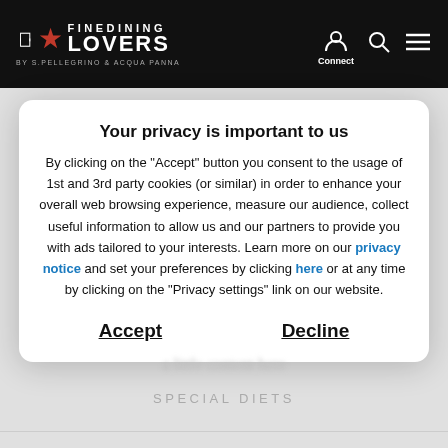[Figure (logo): Fine Dining Lovers logo by S.Pellegrino & Acqua Panna on black header bar with user, search, and menu icons]
Your privacy is important to us
By clicking on the "Accept" button you consent to the usage of 1st and 3rd party cookies (or similar) in order to enhance your overall web browsing experience, measure our audience, collect useful information to allow us and our partners to provide you with ads tailored to your interests. Learn more on our privacy notice and set your preferences by clicking here or at any time by clicking on the "Privacy settings" link on our website.
Accept
Decline
SPECIAL DIETS